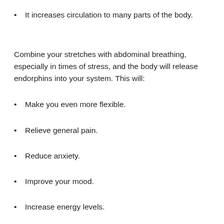It increases circulation to many parts of the body.
Combine your stretches with abdominal breathing, especially in times of stress, and the body will release endorphins into your system. This will:
Make you even more flexible.
Relieve general pain.
Reduce anxiety.
Improve your mood.
Increase energy levels.